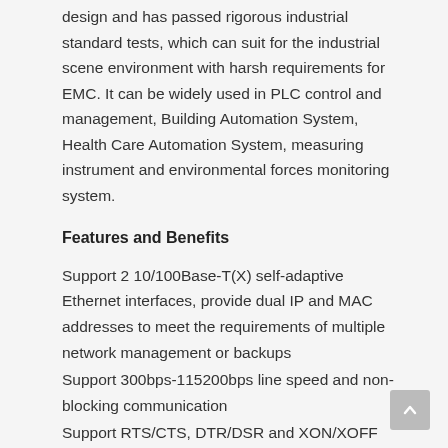design and has passed rigorous industrial standard tests, which can suit for the industrial scene environment with harsh requirements for EMC. It can be widely used in PLC control and management, Building Automation System, Health Care Automation System, measuring instrument and environmental forces monitoring system.
Features and Benefits
Support 2 10/100Base-T(X) self-adaptive Ethernet interfaces, provide dual IP and MAC addresses to meet the requirements of multiple network management or backups
Support 300bps-115200bps line speed and non-blocking communication
Support RTS/CTS, DTR/DSR and XON/XOFF flow control